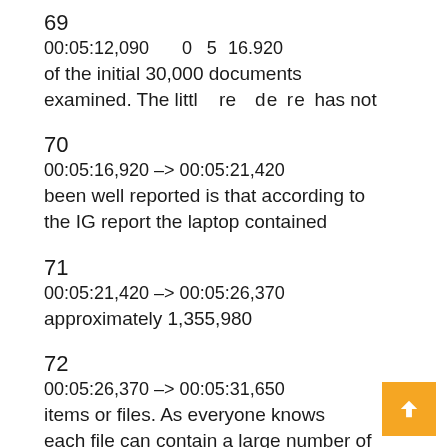69
00:05:12,090 --> 00:05:16,920
of the initial 30,000 documents examined. The little more there has not
70
00:05:16,920 --> 00:05:21,420
been well reported is that according to the IG report the laptop contained
71
00:05:21,420 --> 00:05:26,370
approximately 1,355,980
72
00:05:26,370 --> 00:05:31,650
items or files. As everyone knows each file can contain a large number of